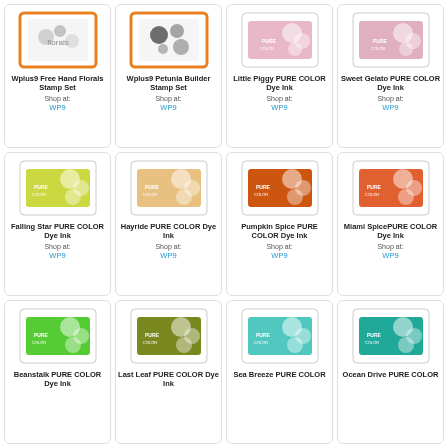[Figure (illustration): Wplus9 Free Hand Florals Stamp Set product image with orange border]
Wplus9 Free Hand Florals Stamp Set
Shop at:
WP9
[Figure (illustration): Wplus9 Petunia Builder Stamp Set product image with orange border]
Wplus9 Petunia Builder Stamp Set
Shop at:
WP9
[Figure (illustration): Little Piggy PURE COLOR Dye Ink pad]
Little Piggy PURE COLOR Dye Ink
Shop at:
WP9
[Figure (illustration): Sweet Gelato PURE COLOR Dye Ink pad]
Sweet Gelato PURE COLOR Dye Ink
Shop at:
WP9
[Figure (illustration): Falling Star PURE COLOR Dye Ink pad - yellow-green]
Falling Star PURE COLOR Dye Ink
Shop at:
WP9
[Figure (illustration): Hayride PURE COLOR Dye Ink pad - peach/tan]
Hayride PURE COLOR Dye Ink
Shop at:
WP9
[Figure (illustration): Pumpkin Spice PURE COLOR Dye Ink pad - orange]
Pumpkin Spice PURE COLOR Dye Ink
Shop at:
WP9
[Figure (illustration): Miami Spice PURE COLOR Dye Ink pad - coral/orange]
Miami SpicePURE COLOR Dye Ink
Shop at:
WP9
[Figure (illustration): Beanstalk PURE COLOR Dye Ink pad - bright green]
Beanstalk PURE COLOR Dye Ink
[Figure (illustration): Last Leaf PURE COLOR Dye Ink pad - olive green]
Last Leaf PURE COLOR Dye Ink
[Figure (illustration): Sea Breeze PURE COLOR Dye Ink pad - light teal]
Sea Breeze PURE COLOR
[Figure (illustration): Ocean Drive PURE COLOR Dye Ink pad - teal]
Ocean Drive PURE COLOR